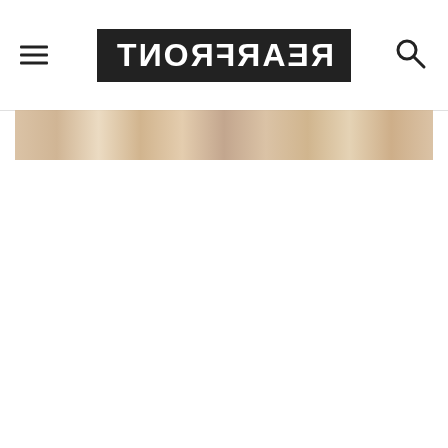REARFRONT (mirrored logo)
[Figure (photo): A narrow horizontal strip of a close-up photograph showing textured baked or food surface in warm golden-brown tones]